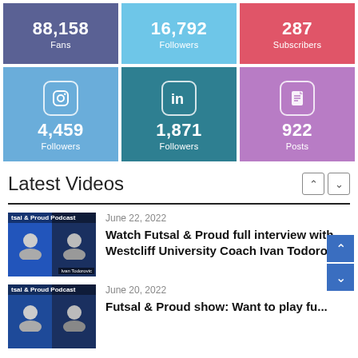[Figure (infographic): Social media stats grid: Facebook 88,158 Fans, Twitter 16,792 Followers, YouTube 287 Subscribers, Instagram 4,459 Followers, LinkedIn 1,871 Followers, Blog 922 Posts]
Latest Videos
June 22, 2022
Watch Futsal & Proud full interview with Westcliff University Coach Ivan Todorovic
[Figure (photo): Futsal & Proud Podcast video thumbnail showing two people, labeled Ivan Todorovic]
June 20, 2022
Futsal & Proud show: Want to play fu...
[Figure (photo): Futsal & Proud Podcast video thumbnail second item]